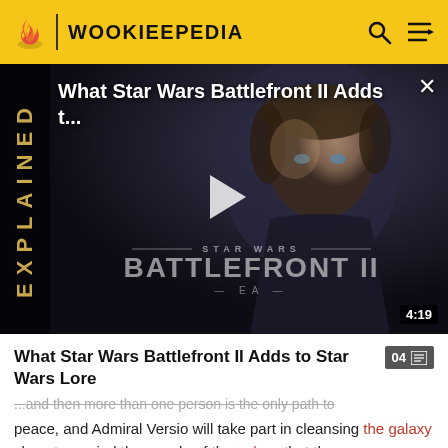WOOKIEEPEDIA
[Figure (screenshot): Video thumbnail for 'What Star Wars Battlefront II Adds t...' showing a young man (Luke Skywalker) against a dark background, with a play button in the center, Star Wars Battlefront II logo at the bottom, EXPLAINED text vertically on left side, close button top right, duration 4:19 bottom right]
What Star Wars Battlefront II Adds to Star Wars Lore
...and then more than one person is the only path to peace, and Admiral Versio will take part in cleansing the galaxy clean to remind the people of the galaxy that the